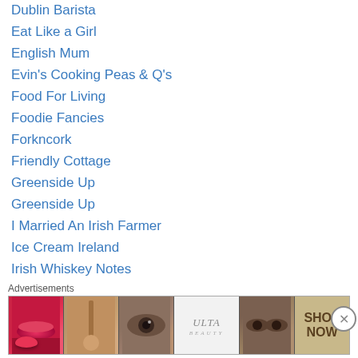Dublin Barista
Eat Like a Girl
English Mum
Evin's Cooking Peas & Q's
Food For Living
Foodie Fancies
Forkncork
Friendly Cottage
Greenside Up
Greenside Up
I Married An Irish Farmer
Ice Cream Ireland
Irish Whiskey Notes
Italian Foodies
Kitchen72
Like Mam Used to Bake
Lola-Lu's Kitchen
[Figure (screenshot): Advertisement banner for ULTA beauty showing makeup imagery — lips, brush, eye, ULTA logo, eyes, and SHOP NOW text — with a close button on the right]